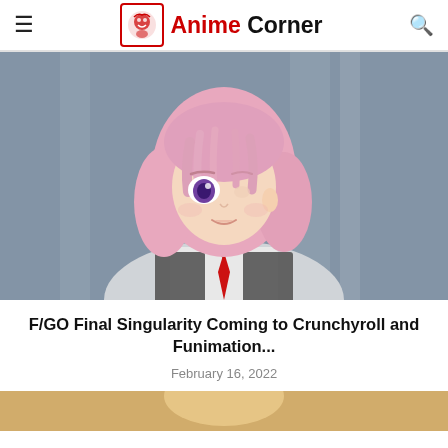Anime Corner
[Figure (photo): Anime character with short pink hair, one visible purple eye, wearing a grey and white uniform with a red tie, set against a blurred blue-grey background. Screenshot from Fate/Grand Order Final Singularity anime.]
F/GO Final Singularity Coming to Crunchyroll and Funimation...
February 16, 2022
[Figure (photo): Partially visible anime screenshot, cropped at page bottom — warm golden/blonde tones visible.]